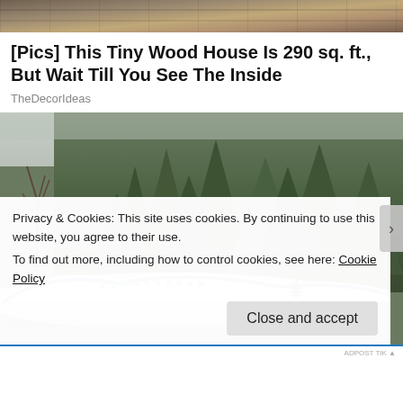[Figure (photo): Top cropped image showing wooden planks/lumber stacked]
[Pics] This Tiny Wood House Is 290 sq. ft., But Wait Till You See The Inside
TheDecorIdeas
[Figure (photo): Photo of an old airplane fuselage parked among tall green evergreen trees]
Privacy & Cookies: This site uses cookies. By continuing to use this website, you agree to their use.
To find out more, including how to control cookies, see here: Cookie Policy
Close and accept